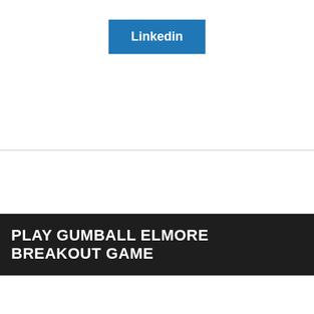[Figure (logo): LinkedIn button — blue rectangular button with white bold text 'Linkedin']
PLAY GUMBALL ELMORE BREAKOUT GAME